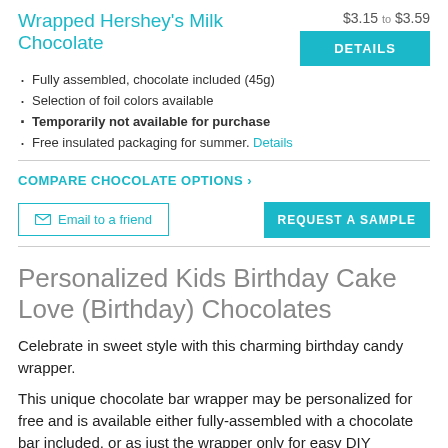Wrapped Hershey's Milk Chocolate
$3.15 to $3.59
Fully assembled, chocolate included (45g)
Selection of foil colors available
Temporarily not available for purchase
Free insulated packaging for summer. Details
COMPARE CHOCOLATE OPTIONS >
✉ Email to a friend
REQUEST A SAMPLE
Personalized Kids Birthday Cake Love (Birthday) Chocolates
Celebrate in sweet style with this charming birthday candy wrapper.
This unique chocolate bar wrapper may be personalized for free and is available either fully-assembled with a chocolate bar included, or as just the wrapper only for easy DIY assembly. A selection of foil colours are available for you to include with your order.